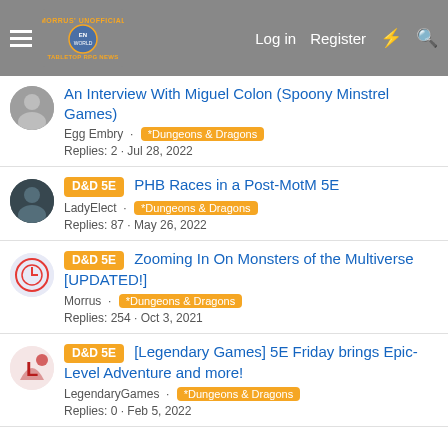Morrus' Unofficial Tabletop RPG News | Log in | Register
An Interview With Miguel Colon (Spoony Minstrel Games)
Egg Embry · *Dungeons & Dragons
Replies: 2 · Jul 28, 2022
D&D 5E PHB Races in a Post-MotM 5E
LadyElect · *Dungeons & Dragons
Replies: 87 · May 26, 2022
D&D 5E Zooming In On Monsters of the Multiverse [UPDATED!]
Morrus · *Dungeons & Dragons
Replies: 254 · Oct 3, 2021
D&D 5E [Legendary Games] 5E Friday brings Epic-Level Adventure and more!
LegendaryGames · *Dungeons & Dragons
Replies: 0 · Feb 5, 2022